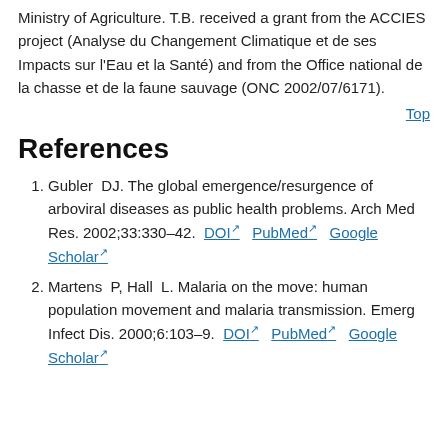Ministry of Agriculture. T.B. received a grant from the ACCIES project (Analyse du Changement Climatique et de ses Impacts sur l'Eau et la Santé) and from the Office national de la chasse et de la faune sauvage (ONC 2002/07/6171).
Top
References
Gubler DJ. The global emergence/resurgence of arboviral diseases as public health problems. Arch Med Res. 2002;33:330–42. DOI PubMed Google Scholar
Martens P, Hall L. Malaria on the move: human population movement and malaria transmission. Emerg Infect Dis. 2000;6:103–9. DOI PubMed Google Scholar